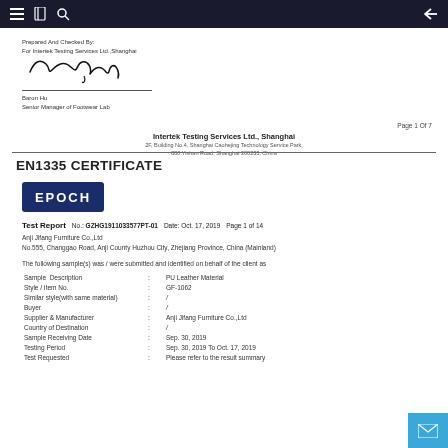Navigation bar with menu, document, search icons and back arrow
Prepared And Checked By:
For Intertek Testing Services Ltd.,Shanghai
[Figure (illustration): Handwritten signature of Baron Hu]
Baron Hu
Senior Manager of Footwear Lab
Page 1 Of 7
Intertek Testing Services Ltd., Shanghai
2F, Building No.4, Shanghai Caohejing Technology Service Park,
880 Yishan Road, Shanghai 200233, China
EN1335 CERTIFICATE
[Figure (logo): EPOCH logo — white text on dark navy blue rounded rectangle background]
Test Report    No.: GZHG1911033577PT-01    Date: Oct. 17, 2019    Page 1 of 14
Anji Jifang Furniture Co.,Ltd
No.555, Changgao Road, Anji County Huzhou City, Zhejiang Province, China (Mainland)
The following sample(s) was / were submitted and identified on behalf of the client as
| Field | : | Value |
| --- | --- | --- |
| Sample Description | : | PU Leather Material |
| Style / Item No. | : | GF-1062 |
| Similar style(with same material) | : | / |
| Buyer | : | / |
| Supplier & Manufacturer | : | Anji Jifang Furniture Co.,Ltd |
| Country of Destination | : | / |
| Sample Receiving Date | : | Sep. 30, 2019 |
| Testing Period | : | Sep. 30, 2019 To Oct. 17, 2019 |
| Test Requested | : | Please refer to the result summary |